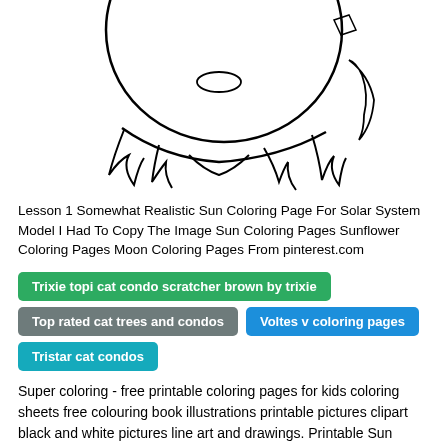[Figure (illustration): Partial outline illustration of a sun coloring page — showing the bottom portion of a circular sun shape with jagged/spiky rays along the edges, black outline on white background.]
Lesson 1 Somewhat Realistic Sun Coloring Page For Solar System Model I Had To Copy The Image Sun Coloring Pages Sunflower Coloring Pages Moon Coloring Pages From pinterest.com
Trixie topi cat condo scratcher brown by trixie
Top rated cat trees and condos
Voltes v coloring pages
Tristar cat condos
Super coloring - free printable coloring pages for kids coloring sheets free colouring book illustrations printable pictures clipart black and white pictures line art and drawings. Printable Sun Coloring Pages for free Print. Print this sunny coloring sheet and give them to your kids. Pin Auf Coloring Pages For Adults. Best realistic girl coloring pages from adamasto s photos 17 albums art in 2019 source image. Animal coloring more from.